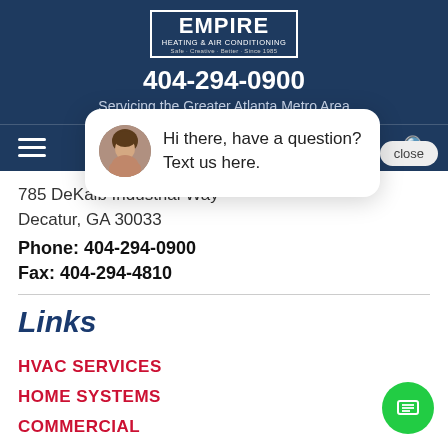[Figure (logo): Empire Heating & Air Conditioning logo in white on dark blue banner]
404-294-0900
Servicing the Greater Atlanta Metro Area
[Figure (infographic): Navigation bar with hamburger menu icon and search icon on dark blue background]
785 DeKalb Industrial Way
Decatur, GA 30033
Phone: 404-294-0900
Fax: 404-294-4810
Links
Hi there, have a question? Text us here.
HVAC SERVICES
HOME SYSTEMS
COMMERCIAL